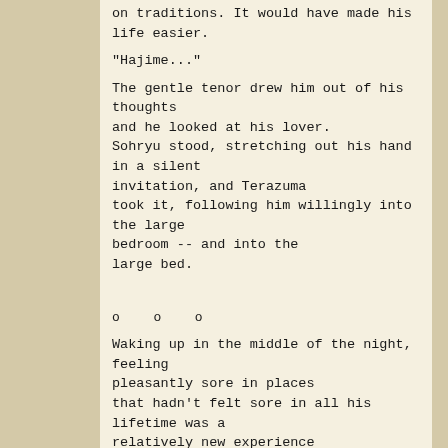on traditions. It would have made his life easier.
"Hajime..."
The gentle tenor drew him out of his thoughts and he looked at his lover.
Sohryu stood, stretching out his hand in a silent invitation, and Terazuma
took it, following him willingly into the large bedroom -- and into the
large bed.
o  o  o
Waking up in the middle of the night, feeling pleasantly sore in places
that hadn't felt sore in all his lifetime was a relatively new experience
for Terazuma. The moon was bathing the room in a bluish light, illumination
enough for him to see the face of the man lying at his side. He had never
seen Sohryu sleep, it occurred to him, and he couldn't help watch. The